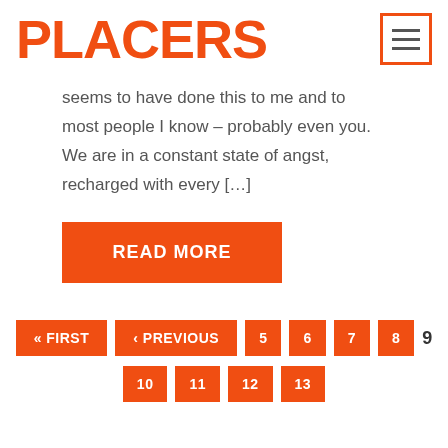PLACERS
seems to have done this to me and to most people I know – probably even you. We are in a constant state of angst, recharged with every […]
READ MORE
« FIRST  ‹ PREVIOUS  5  6  7  8  9  10  11  12  13